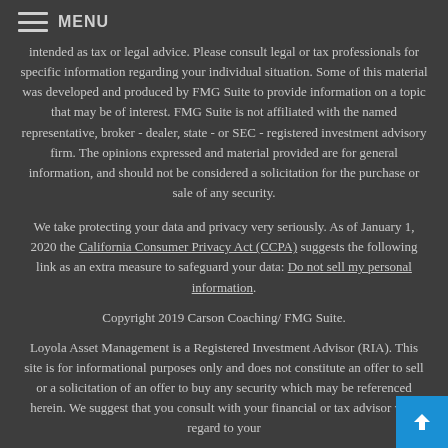MENU
intended as tax or legal advice. Please consult legal or tax professionals for specific information regarding your individual situation. Some of this material was developed and produced by FMG Suite to provide information on a topic that may be of interest. FMG Suite is not affiliated with the named representative, broker - dealer, state - or SEC - registered investment advisory firm. The opinions expressed and material provided are for general information, and should not be considered a solicitation for the purchase or sale of any security.
We take protecting your data and privacy very seriously. As of January 1, 2020 the California Consumer Privacy Act (CCPA) suggests the following link as an extra measure to safeguard your data: Do not sell my personal information.
Copyright 2019 Carson Coaching/ FMG Suite.
Loyola Asset Management is a Registered Investment Advisor (RIA). This site is for informational purposes only and does not constitute an offer to sell or a solicitation of an offer to buy any security which may be referenced herein. We suggest that you consult with your financial or tax advisor with regard to your